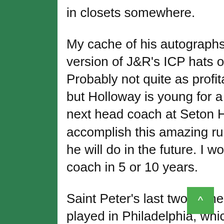in closets somewhere.
My cache of his autographs (I probably bought 30 or 40) will be my version of J&R's ICP hats over the next few months and years. Probably not quite as profitable (ICP collectors are a spendy bunch), but Holloway is young for a coach and is likely to be named to be the next head coach at Seton Hall, or another large school. If he can accomplish this amazing run with tiny Saint Peter's, who knows what he will do in the future. I wouldn't be surprised if he's an NBA head coach in 5 or 10 years.
Saint Peter's last two games against Purdue and North Carolina were played in Philadelphia, which I live right outside of, and I splurged and bought a ticket on StubHub to their game on Sunday which they lost to North Carolina. Something I haven't done since…well, ever.I'm honestly not a huge sports watcher, though obviously I follow the players and teams closely. It had been years since I've